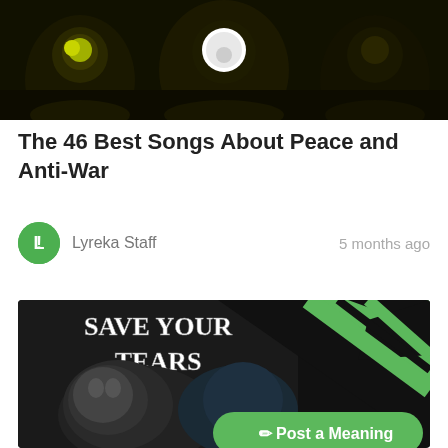[Figure (photo): Dark moody image showing three stylized figures with glowing yellow-green accents, one with a white circular face/mask in the center, against a dark background]
The 46 Best Songs About Peace and Anti-War
Lyreka Staff    5 months ago
[Figure (photo): Dark illustrated artwork showing a figure with text 'SAVE YOUR TEARS' in large bold letters at the top, with green diagonal stripe design elements in the upper right corner. A 'Post a Meaning' green button is overlaid at the bottom right.]